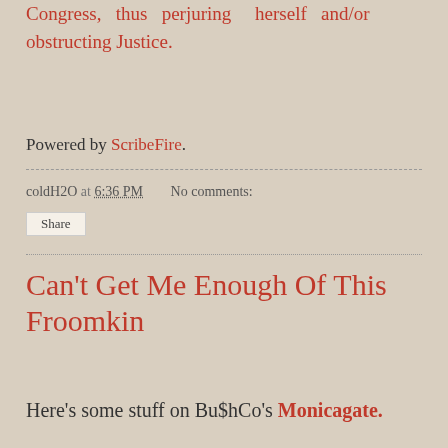Congress, thus perjuring herself and/or obstructing Justice.
Powered by ScribeFire.
coldH2O at 6:36 PM    No comments:
Share
Can't Get Me Enough Of This Froomkin
Here's some stuff on Bu$hCo's Monicagate.